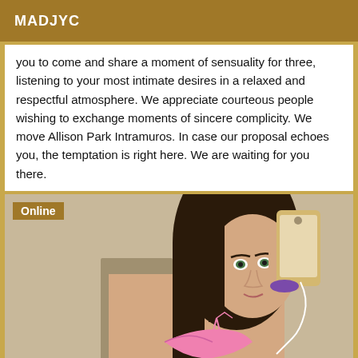MADJYC
you to come and share a moment of sensuality for three, listening to your most intimate desires in a relaxed and respectful atmosphere. We appreciate courteous people wishing to exchange moments of sincere complicity. We move Allison Park Intramuros. In case our proposal echoes you, the temptation is right here. We are waiting for you there.
[Figure (photo): A young woman taking a selfie in a mirror, wearing a pink bikini top, with a purple scrunchie on her wrist, holding a phone. An 'Online' badge is shown in the top-left corner of the image.]